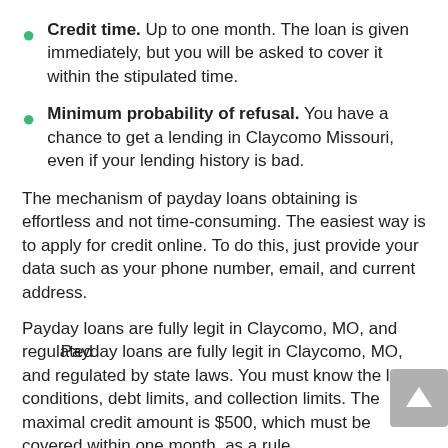Credit time. Up to one month. The loan is given immediately, but you will be asked to cover it within the stipulated time.
Minimum probability of refusal. You have a chance to get a lending in Claycomo Missouri, even if your lending history is bad.
The mechanism of payday loans obtaining is effortless and not time-consuming. The easiest way is to apply for credit online. To do this, just provide your data such as your phone number, email, and current address.
Payday loans are fully legit in Claycomo, MO, and regulated by state laws. You must know the loan conditions, debt limits, and collection limits. The maximal credit amount is $500, which must be covered within one month, as a rule.
A borrower can qualify for only one payday loan. No more than four payday loans can be given to a person in Claycomo. A person must wait for the 90 days before he c...